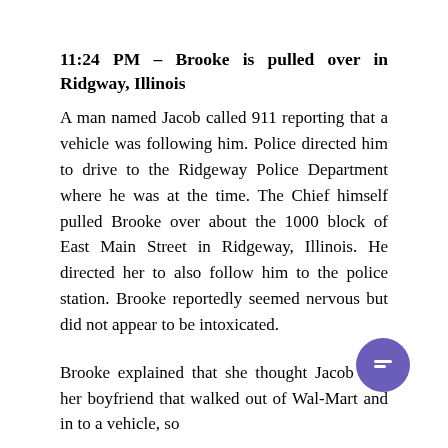11:24 PM – Brooke is pulled over in Ridgway, Illinois
A man named Jacob called 911 reporting that a vehicle was following him. Police directed him to drive to the Ridgeway Police Department where he was at the time. The Chief himself pulled Brooke over about the 1000 block of East Main Street in Ridgeway, Illinois. He directed her to also follow him to the police station. Brooke reportedly seemed nervous but did not appear to be intoxicated.
Brooke explained that she thought Jacob was her boyfriend that walked out of Wal-Mart and in to a vehicle, so